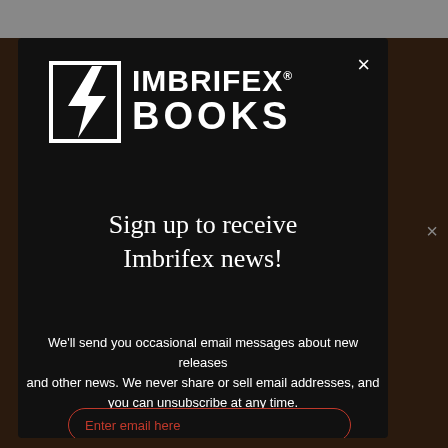[Figure (logo): Imbrifex Books logo: lightning bolt in a square frame beside the text IMBRIFEX BOOKS]
Sign up to receive Imbrifex news!
We'll send you occasional email messages about new releases and other news. We never share or sell email addresses, and you can unsubscribe at any time.
Enter email here